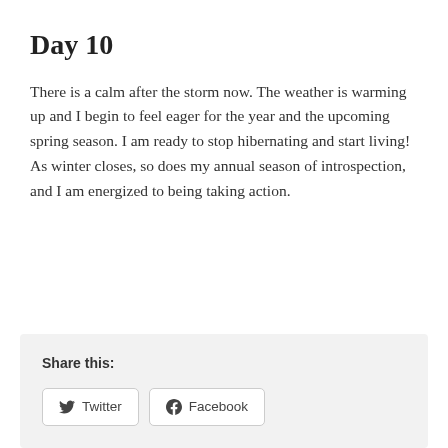Day 10
There is a calm after the storm now. The weather is warming up and I begin to feel eager for the year and the upcoming spring season. I am ready to stop hibernating and start living! As winter closes, so does my annual season of introspection, and I am energized to being taking action.
Share this:
Twitter  Facebook